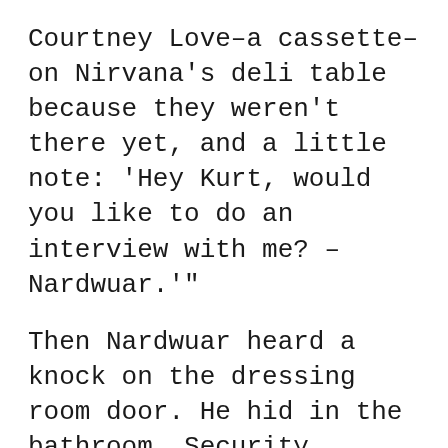Courtney Love–a cassette–on Nirvana's deli table because they weren't there yet, and a little note: 'Hey Kurt, would you like to do an interview with me? – Nardwuar.'"
Then Nardwuar heard a knock on the dressing room door. He hid in the bathroom. Security discovered him there and, on a whim, he attempted to convince them that he was the president of Nirvana's record label Sub Pop. He was unceremoniously tossed out.
Later that day, Nardwuar returned to